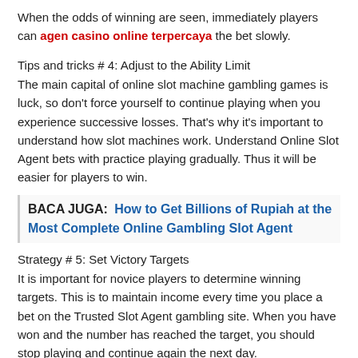When the odds of winning are seen, immediately players can agen casino online terpercaya the bet slowly.
Tips and tricks # 4: Adjust to the Ability Limit
The main capital of online slot machine gambling games is luck, so don’t force yourself to continue playing when you experience successive losses. That’s why it’s important to understand how slot machines work. Understand Online Slot Agent bets with practice playing gradually. Thus it will be easier for players to win.
BACA JUGA: How to Get Billions of Rupiah at the Most Complete Online Gambling Slot Agent
Strategy # 5: Set Victory Targets
It is important for novice players to determine winning targets. This is to maintain income every time you place a bet on the Trusted Slot Agent gambling site. When you have won and the number has reached the target, you should stop playing and continue again the next day.
Leave the capital to play again. To start the next game, create a new winning target. If, the player loses more than the predetermined target. It’s best to stop to avoid losses.